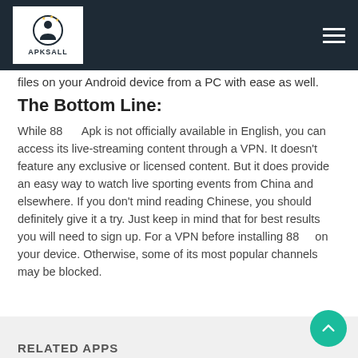APKSALL
files on your Android device from a PC with ease as well.
The Bottom Line:
While 88 Apk is not officially available in English, you can access its live-streaming content through a VPN. It doesn't feature any exclusive or licensed content. But it does provide an easy way to watch live sporting events from China and elsewhere. If you don't mind reading Chinese, you should definitely give it a try. Just keep in mind that for best results you will need to sign up. For a VPN before installing 88 on your device. Otherwise, some of its most popular channels may be blocked.
RELATED APPS